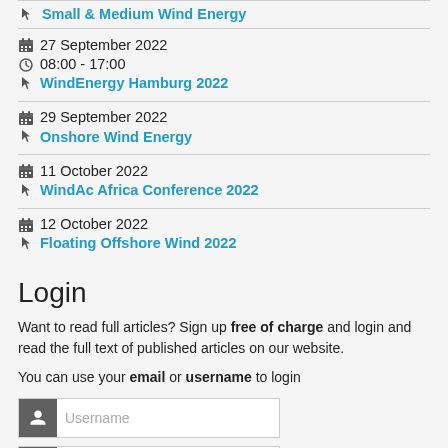Small & Medium Wind Energy
27 September 2022 | 08:00 - 17:00 | WindEnergy Hamburg 2022
29 September 2022 | Onshore Wind Energy
11 October 2022 | WindAc Africa Conference 2022
12 October 2022 | Floating Offshore Wind 2022
Login
Want to read full articles? Sign up free of charge and login and read the full text of published articles on our website.
You can use your email or username to login
Username
Password